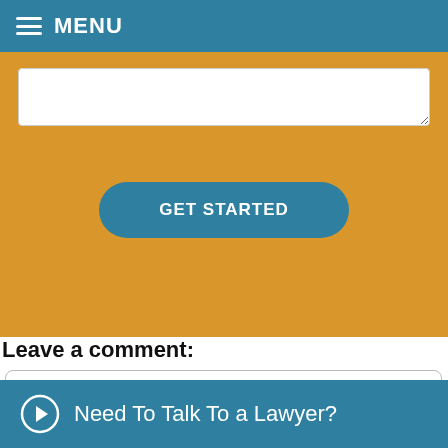MENU
[Figure (screenshot): Text input area (textarea) on gold/orange background, partially visible at top]
[Figure (screenshot): GET STARTED button — rounded teal/blue button on gold background]
Leave a comment:
[Figure (screenshot): Large comment textarea input box with rounded corners]
Need To Talk To a Lawyer?